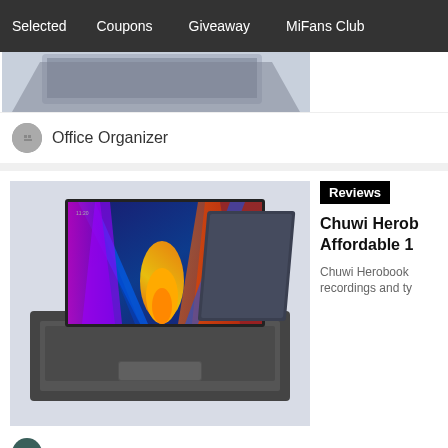Selected   Coupons   Giveaway   MiFans Club
[Figure (photo): Partial top view of a laptop on grey background]
Office Organizer
[Figure (photo): Chuwi Herobook laptop with colorful abstract display, shown front and back]
Reviews
Chuwi Herob... Affordable 1...
Chuwi Herobook... recordings and ty...
Emre Alexander
View More
Recommended for You